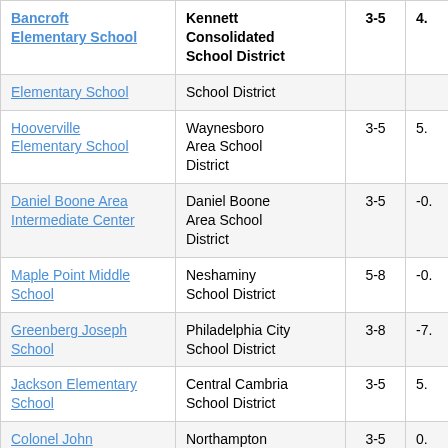| School Name | District | Grades | Score |
| --- | --- | --- | --- |
| Bancroft Elementary School | Kennett Consolidated School District | 3-5 | 4. |
| Elementary School | School District |  |  |
| Hooverville Elementary School | Waynesboro Area School District | 3-5 | 5. |
| Daniel Boone Area Intermediate Center | Daniel Boone Area School District | 3-5 | -0. |
| Maple Point Middle School | Neshaminy School District | 5-8 | -0. |
| Greenberg Joseph School | Philadelphia City School District | 3-8 | -7. |
| Jackson Elementary School | Central Cambria School District | 3-5 | 5. |
| Colonel John Siegfried Elementary School | Northampton Area School District | 3-5 | 0. |